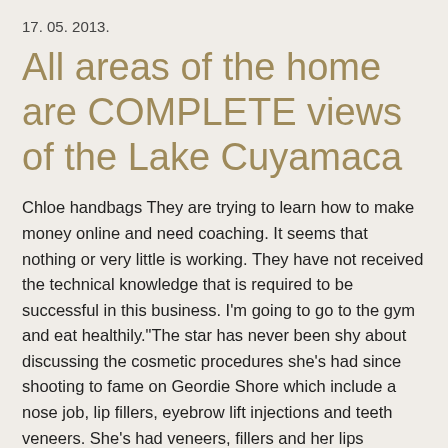17. 05. 2013.
All areas of the home are COMPLETE views of the Lake Cuyamaca
Chloe handbags They are trying to learn how to make money online and need coaching. It seems that nothing or very little is working. They have not received the technical knowledge that is required to be successful in this business. I'm going to go to the gym and eat healthily."The star has never been shy about discussing the cosmetic procedures she's had since shooting to fame on Geordie Shore which include a nose job, lip fillers, eyebrow lift injections and teeth veneers. She's had veneers, fillers and her lips